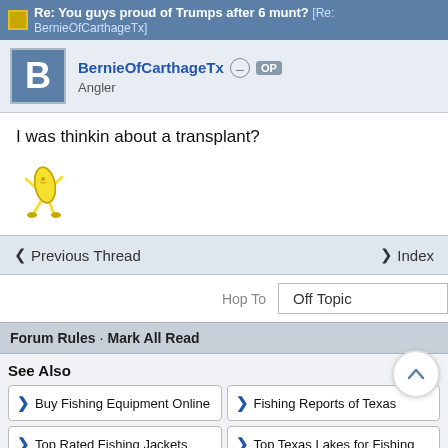Re: You guys proud of Trumps after 6 munt? [Re: BernieOfCarthageTx]
BernieOfCarthageTx OP
Angler
I was thinkin about a transplant?
[Figure (illustration): Animated dancing banana emoji]
◄ Previous Thread    ▲ Index
Hop To   Off Topic
Forum Rules · Mark All Read
See Also
❯ Buy Fishing Equipment Online
❯ Fishing Reports of Texas
❯ Top Rated Fishing Jackets
❯ Top Texas Lakes for Fishing
© 2011-2021 OUTDOOR SITES NETWORK all rights reserved USA and Worldwide
Powered by UBB.threads™ PHP Forum Software 7.7.3